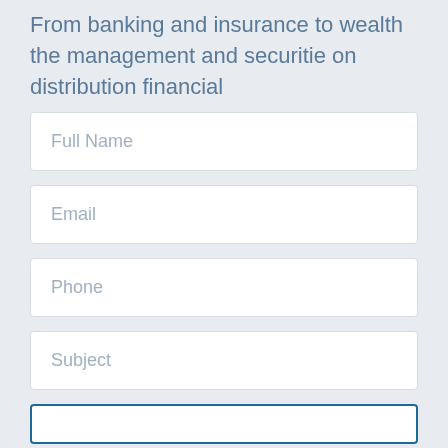From banking and insurance to wealth the management and securitie on distribution financial
Full Name
Email
Phone
Subject
[Figure (other): Empty button/input field with blue border at the bottom of the page]